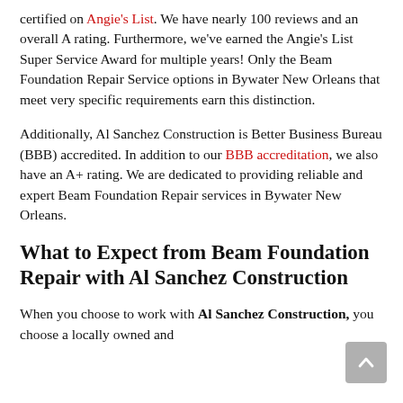certified on Angie's List. We have nearly 100 reviews and an overall A rating. Furthermore, we've earned the Angie's List Super Service Award for multiple years! Only the Beam Foundation Repair Service options in Bywater New Orleans that meet very specific requirements earn this distinction.
Additionally, Al Sanchez Construction is Better Business Bureau (BBB) accredited. In addition to our BBB accreditation, we also have an A+ rating. We are dedicated to providing reliable and expert Beam Foundation Repair services in Bywater New Orleans.
What to Expect from Beam Foundation Repair with Al Sanchez Construction
When you choose to work with Al Sanchez Construction, you choose a locally owned and